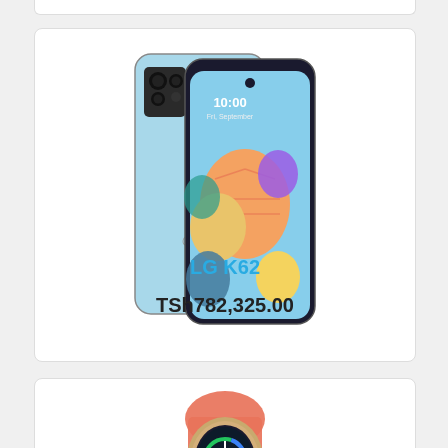[Figure (photo): LG K62 smartphone in light blue color, showing both the back and front of the device with colorful balloons on the screen]
LG K62
TSh782,325.00
[Figure (photo): Apple Watch with coral/orange sport band and gold aluminum case, partially visible at bottom of page]